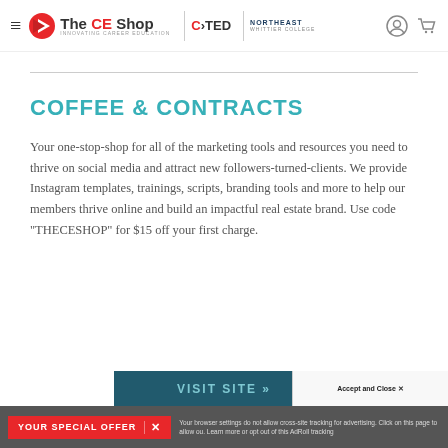The CE Shop | COTED | NORTHEAST
COFFEE & CONTRACTS
Your one-stop-shop for all of the marketing tools and resources you need to thrive on social media and attract new followers-turned-clients. We provide Instagram templates, trainings, scripts, branding tools and more to help our members thrive online and build an impactful real estate brand. Use code "THECESHOP" for $15 off your first charge.
VISIT SITE »
Accept and Close ✕
Your browser settings do not allow cross-site tracking for advertising. Click on this page to allow ou. Learn more or opt out of this AdRoll tracking
YOUR SPECIAL OFFER  ✕